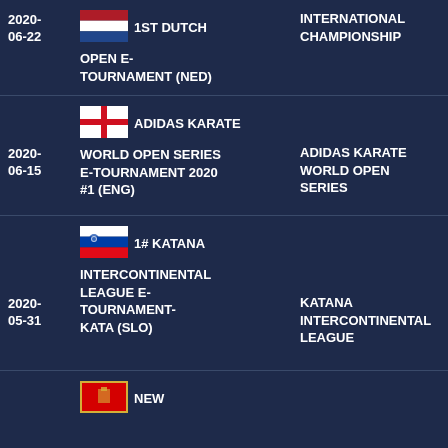2020-06-22 | 1ST DUTCH OPEN E-TOURNAMENT (NED) | INTERNATIONAL CHAMPIONSHIP
2020-06-15 | ADIDAS KARATE WORLD OPEN SERIES E-TOURNAMENT 2020 #1 (ENG) | ADIDAS KARATE WORLD OPEN SERIES
2020-05-31 | 1# KATANA INTERCONTINENTAL LEAGUE E-TOURNAMENT-KATA (SLO) | KATANA INTERCONTINENTAL LEAGUE
NEW